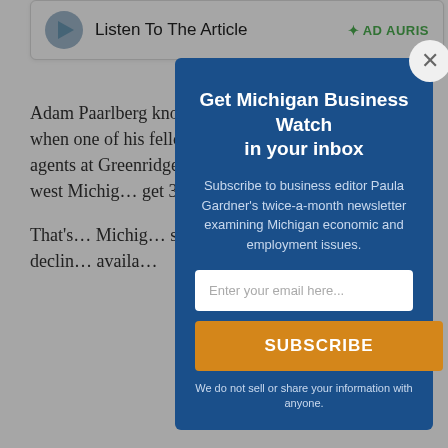[Figure (other): Audio player bar with play button, 'Listen To The Article' text, and AD AURIS branding]
Adam Paarlberg knows that when one of his fellow 400 agents at Greenridge Realty in west Michigan... get 30...
That's... Michigan... starting... declin... availa...
[Figure (other): Email newsletter subscription modal overlay with title 'Get Michigan Business Watch in your inbox', subscription description, email input field, SUBSCRIBE button, and privacy notice]
We do not sell or share your information with anyone.